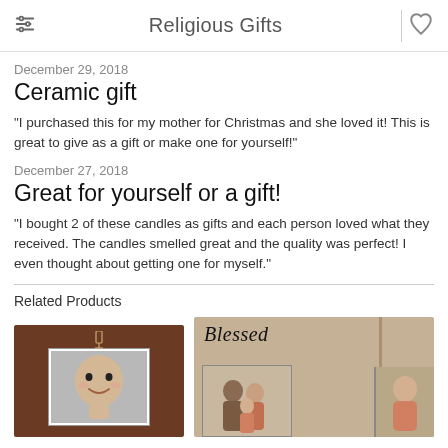Religious Gifts
December 29, 2018
Ceramic gift
"I purchased this for my mother for Christmas and she loved it! This is great to give as a gift or make one for yourself!"
December 27, 2018
Great for yourself or a gift!
"I bought 2 of these candles as gifts and each person loved what they received. The candles smelled great and the quality was perfect! I even thought about getting one for myself."
Related Products
[Figure (photo): Two related product images: a dark brown frame with a baby photo, and a rustic wooden 'Blessed' frame with family photos]